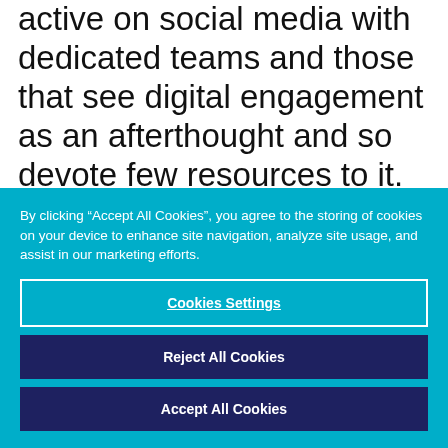active on social media with dedicated teams and those that see digital engagement as an afterthought and so devote few resources to it. There is still a small number of government leaders who refuse to embrace the new digital world and, for these few, their community managers struggle
By clicking “Accept All Cookies”, you agree to the storing of cookies on your device to enhance site navigation, analyze site usage, and assist in our marketing efforts.
Cookies Settings
Reject All Cookies
Accept All Cookies